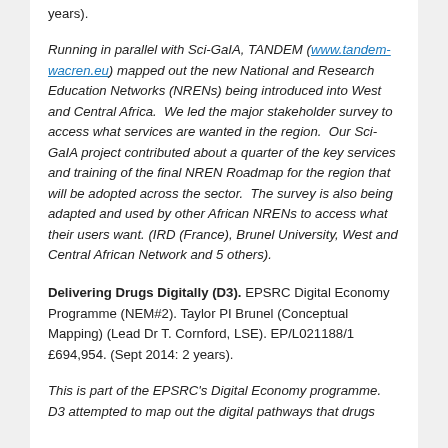years).
Running in parallel with Sci-GaIA, TANDEM (www.tandem-wacren.eu) mapped out the new National and Research Education Networks (NRENs) being introduced into West and Central Africa.  We led the major stakeholder survey to access what services are wanted in the region.  Our Sci-GaIA project contributed about a quarter of the key services and training of the final NREN Roadmap for the region that will be adopted across the sector.  The survey is also being adapted and used by other African NRENs to access what their users want. (IRD (France), Brunel University, West and Central African Network and 5 others).
Delivering Drugs Digitally (D3). EPSRC Digital Economy Programme (NEM#2). Taylor PI Brunel (Conceptual Mapping) (Lead Dr T. Cornford, LSE). EP/L021188/1 £694,954. (Sept 2014: 2 years).
This is part of the EPSRC's Digital Economy programme. D3 attempted to map out the digital pathways that drugs